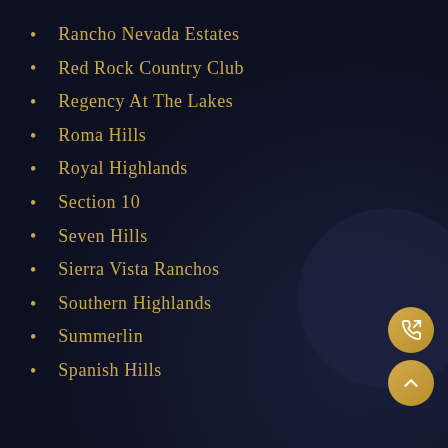Rancho Nevada Estates
Red Rock Country Club
Regency At The Lakes
Roma Hills
Royal Highlands
Section 10
Seven Hills
Sierra Vista Ranchos
Southern Highlands
Summerlin
Spanish Hills